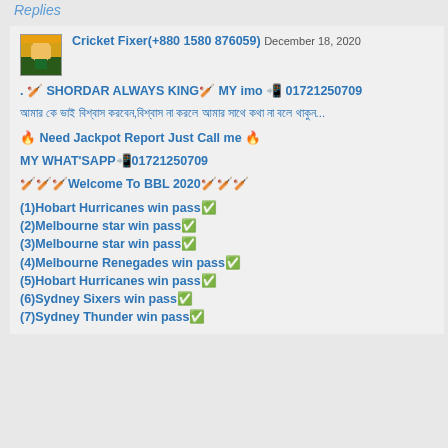Replies
[Figure (photo): Avatar photo of a cricket player in yellow uniform batting]
Cricket Fixer(+880 1580 876059) December 18, 2020
.  🏏 SHORDAR ALWAYS KING🏏  MY imo 📲 01721250709
আমার কে ভাই বিশ্বাস করবেন,বিশ্বাস না করলে আমার সাথে কথা না বলে থাকুন...
🔥 Need Jackpot Report Just Call me 🔥
MY WHAT'SAPP📲01721250709
🏏🏏🏏Welcome To BBL 2020🏏🏏🏏
(1)Hobart Hurricanes win pass✅
(2)Melbourne star win pass✅
(3)Melbourne star win pass✅
(4)Melbourne Renegades win pass✅
(5)Hobart Hurricanes win pass✅
(6)Sydney Sixers win pass✅
(7)Sydney Thunder win pass✅